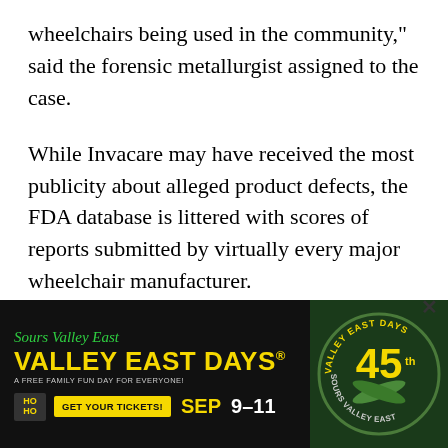wheelchairs being used in the community," said the forensic metallurgist assigned to the case.
While Invacare may have received the most publicity about alleged product defects, the FDA database is littered with scores of reports submitted by virtually every major wheelchair manufacturer.
Currently, in Salinas, California, an attorney named Tom Wills is representing the family of a man burned to death. It's alleged the hydrogen gas, emitted from the batteries in his wheelchair, was ignited by electrical
[Figure (advertisement): Valley East Days advertisement banner. Black background with green script text 'Sours Valley East' and yellow bold text 'VALLEY EAST DAYS' with tagline 'A FREE FAMILY FUN DAY FOR EVERYONE!' and a 'GET YOUR TICKETS!' button and 'SEP 9-11' dates. Right side shows a circular badge with '45th' and 'Valley East Days' text on a dark green background.]